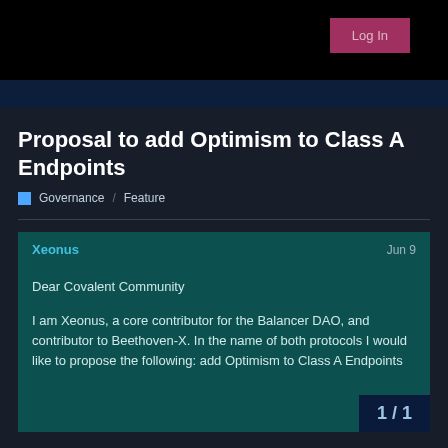Log In
Proposal to add Optimism to Class A Endpoints
Governance  Feature
Xeonus
Jun 9
Dear Covalent Community
I am Xeonus, a core contributor for the Balancer DAO, and contributor to Beethoven-X. In the name of both protocols I would like to propose the following: add Optimism to Class A Endpoints
1 / 1